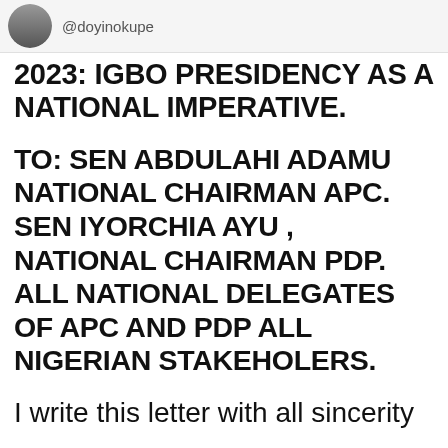@doyinokupe
2023: IGBO PRESIDENCY AS A NATIONAL IMPERATIVE.
TO: SEN ABDULAHI ADAMU NATIONAL CHAIRMAN APC. SEN IYORCHIA AYU , NATIONAL CHAIRMAN PDP. ALL NATIONAL DELEGATES OF APC AND PDP ALL NIGERIAN STAKEHOLERS.
I write this letter with all sincerity